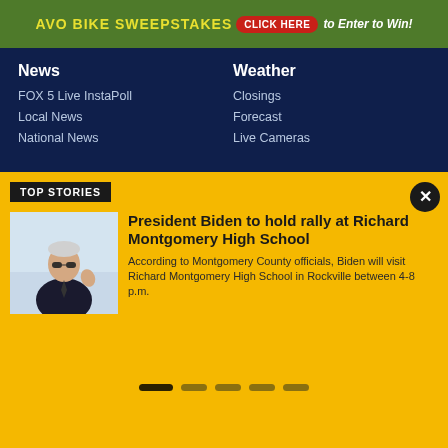[Figure (illustration): Green banner ad for AVO BIKE SWEEPSTAKES with red CLICK HERE button and 'to Enter to Win!' text]
News
FOX 5 Live InstaPoll
Local News
National News
Weather
Closings
Forecast
Live Cameras
TOP STORIES
[Figure (photo): Photo of President Biden waving, wearing sunglasses and a dark suit]
President Biden to hold rally at Richard Montgomery High School
According to Montgomery County officials, Biden will visit Richard Montgomery High School in Rockville between 4-8 p.m.